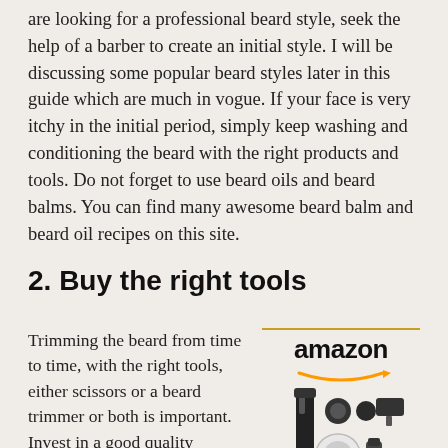are looking for a professional beard style, seek the help of a barber to create an initial style. I will be discussing some popular beard styles later in this guide which are much in vogue. If your face is very itchy in the initial period, simply keep washing and conditioning the beard with the right products and tools. Do not forget to use beard oils and beard balms. You can find many awesome beard balm and beard oil recipes on this site.
2. Buy the right tools
Trimming the beard from time to time, with the right tools, either scissors or a beard trimmer or both is important. Invest in a good quality trimmer
[Figure (logo): Amazon logo with orange arrow swoosh beneath the wordmark, followed by an image of a beard trimmer set with multiple attachments]